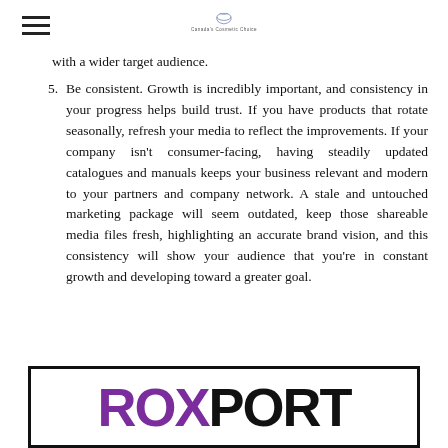Canada's Cosmetic Choice
with a wider target audience.
5. Be consistent. Growth is incredibly important, and consistency in your progress helps build trust. If you have products that rotate seasonally, refresh your media to reflect the improvements. If your company isn't consumer-facing, having steadily updated catalogues and manuals keeps your business relevant and modern to your partners and company network. A stale and untouched marketing package will seem outdated, keep those shareable media files fresh, highlighting an accurate brand vision, and this consistency will show your audience that you're in constant growth and developing toward a greater goal.
[Figure (logo): ROXPORT logo in purple and black text inside a bordered rectangle]